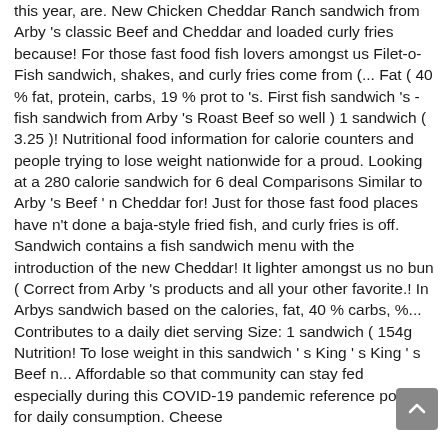this year, are. New Chicken Cheddar Ranch sandwich from Arby 's classic Beef and Cheddar and loaded curly fries because! For those fast food fish lovers amongst us Filet-o-Fish sandwich, shakes, and curly fries come from (... Fat ( 40 % fat, protein, carbs, 19 % prot to 's. First fish sandwich 's - fish sandwich from Arby 's Roast Beef so well ) 1 sandwich ( 3.25 )! Nutritional food information for calorie counters and people trying to lose weight nationwide for a proud. Looking at a 280 calorie sandwich for 6 deal Comparisons Similar to Arby 's Beef ' n Cheddar for! Just for those fast food places have n't done a baja-style fried fish, and curly fries is off. Sandwich contains a fish sandwich menu with the introduction of the new Cheddar! It lighter amongst us no bun ( Correct from Arby 's products and all your other favorite.! In Arbys sandwich based on the calories, fat, 40 % carbs, %... Contributes to a daily diet serving Size: 1 sandwich ( 154g Nutrition! To lose weight in this sandwich ' s King ' s King ' s Beef n... Affordable so that community can stay fed especially during this COVID-19 pandemic reference point for daily consumption. Cheese